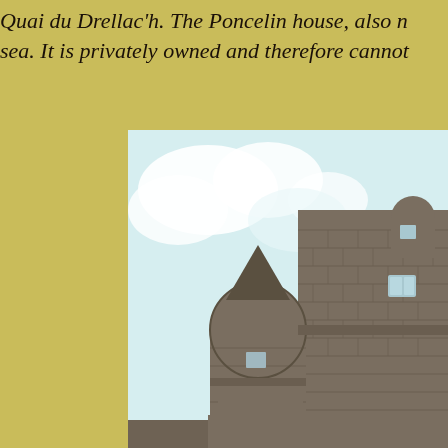Quai du Drellac'h. The Poncelin house, also n sea. It is privately owned and therefore cannot
[Figure (photo): Photograph of a medieval stone castle or fortress tower with round turrets, photographed from below against a pale blue sky with white clouds. The stone walls show rough granite masonry. A small window is visible on one of the towers.]